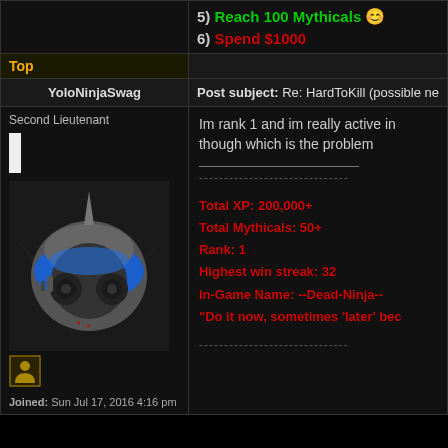5) Reach 100 Mythicals 😊
6) Spend $1000
Top
YoloNinjaSwag
Post subject: Re: HardToKill (possible ne
Second Lieutenant
Im rank 1 and im really active in though which is the problem
Total XP: 200,000+
Total Mythicals: 50+
Rank: 1
Highest win streak: 32
In-Game Name: --Dead-Ninja--
"Do it now, sometimes 'later' bec
Joined: Sun Jul 17, 2016 4:16 pm